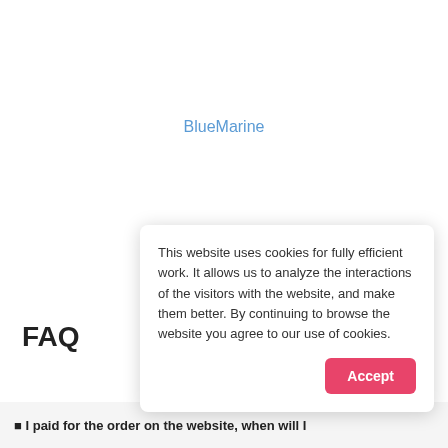BlueMarine
FAQ
This website uses cookies for fully efficient work. It allows us to analyze the interactions of the visitors with the website, and make them better. By continuing to browse the website you agree to our use of cookies.
Accept
■ I paid for the order on the website, when will I